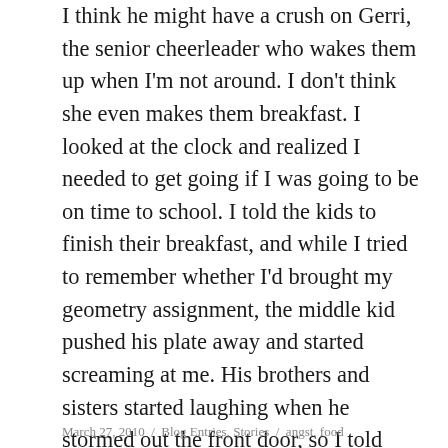I think he might have a crush on Gerri, the senior cheerleader who wakes them up when I'm not around. I don't think she even makes them breakfast. I looked at the clock and realized I needed to get going if I was going to be on time to school. I told the kids to finish their breakfast, and while I tried to remember whether I'd brought my geometry assignment, the middle kid pushed his plate away and started screaming at me. His brothers and sisters started laughing when he stormed out the front door, so I told them to finish their breakfast. I already at some oatmeal at home, but if the kid wasn't going to eat his egg I didn't want to let it go to waste.
March 27, 2010  /  Blog Entries, Stories  /  angst, food